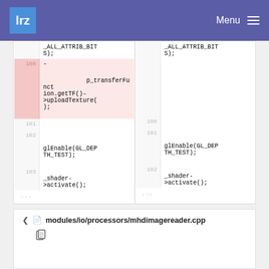lrz  Menu
[Figure (screenshot): Code diff view showing two columns. Left side (old) shows line 100 highlighted in pink/red with removed code: '- p_transferFunction.getTF()->uploadTexture();'. Lines 101-102 are blank. Lines 101-103 show 'glEnable(GL_DEPTH_TH_TEST);' and '_shader->activate();' followed by '...'. Right side (new) shows corresponding lines 100-102 with same glEnable and _shader code, and '_ALL_ATTRIB_BIT S);' at top.]
modules/io/processors/mhdimagereader.cpp